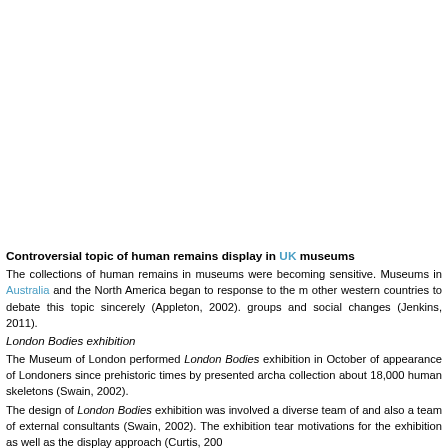Controversial topic of human remains display in UK museums
The collections of human remains in museums were becoming sensitive. Museums in Australia and the North America began to response to the other western countries to debate this topic sincerely (Appleton, 2002). groups and social changes (Jenkins, 2011).
London Bodies exhibition
The Museum of London performed London Bodies exhibition in October of appearance of Londoners since prehistoric times by presented archa collection about 18,000 human skeletons (Swain, 2002).
The design of London Bodies exhibition was involved a diverse team of and also a team of external consultants (Swain, 2002). The exhibition tea motivations for the exhibition as well as the display approach (Curtis, 200
The team put up three very clear warnings outside to ensure people noti